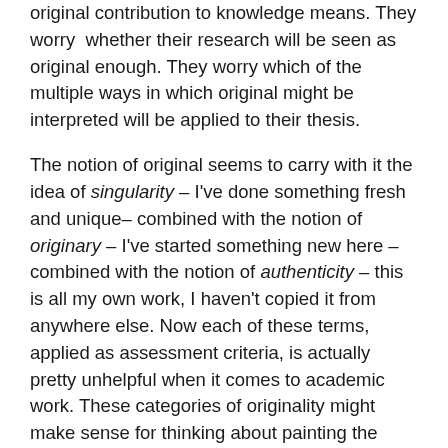original contribution to knowledge means. They worry whether their research will be seen as original enough. They worry which of the multiple ways in which original might be interpreted will be applied to their thesis.
The notion of original seems to carry with it the idea of singularity – I've done something fresh and unique– combined with the notion of originary – I've started something new here – combined with the notion of authenticity – this is all my own work, I haven't copied it from anywhere else. Now each of these terms, applied as assessment criteria, is actually pretty unhelpful when it comes to academic work. These categories of originality might make sense for thinking about painting the Mona Lisa, or even inventing Facebook, but they don't get very far in relation to scholarship. Let me explain.
Singularity? Something unique? Not always the case in...